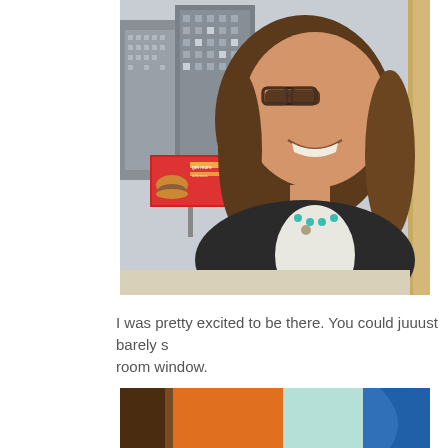[Figure (photo): A smiling woman with brown hair and glasses, sitting near a window with a city skyline and a billboard (showing a hamburger) visible in the background. She is wearing a black jacket and a teal necklace.]
I was pretty excited to be there. You could juuust barely s[ee it from the] room window.
[Figure (photo): Bottom portion of a second photo, partially visible, showing what appears to be a colorful scene with orange, teal/green, and blue elements.]